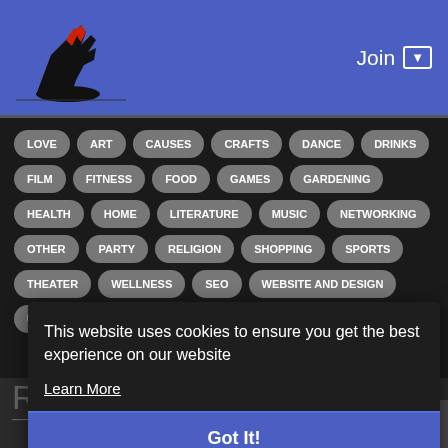[Figure (logo): Wolf/coyote howling logo in red and black on blue header background]
Join ▾
LOVE
ART
CAUSES
CRAFTS
DANCE
DRINKS
FILM
FITNESS
FOOD
GAMES
GARDENING
HEALTH
HOME
LITERATURE
MUSIC
NETWORKING
OTHER
PARTY
RELIGION
SHOPPING
SPORTS
THEATER
WELLNESS
SEO
WEBSITE AND DESIGN
UNCATEGORIZED
This website uses cookies to ensure you get the best experience on our website
Learn More
Got It!